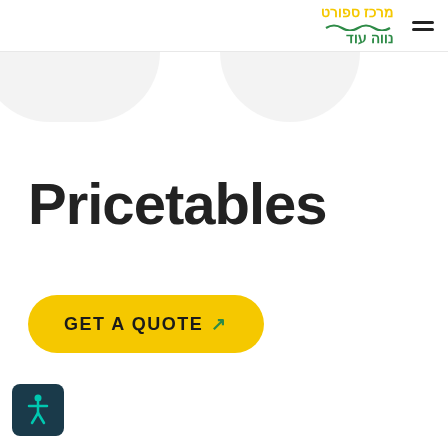מרכז ספורט נווה עוד
Pricetables
GET A QUOTE ↗
[Figure (logo): Accessibility button with figure icon, bottom left corner]